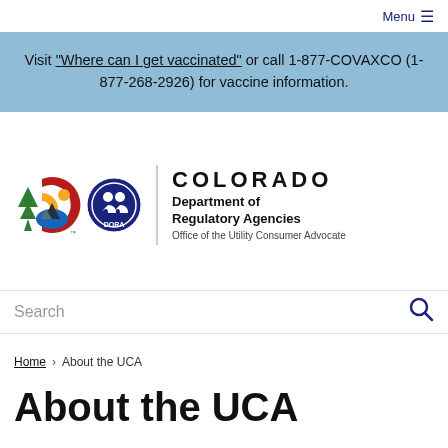Menu ≡
Visit "Where can I get vaccinated" or call 1-877-COVAXCO (1-877-268-2926) for vaccine information.
[Figure (logo): Colorado DORA logo with Colorado state symbol and DORA seal, next to text reading COLORADO Department of Regulatory Agencies, Office of the Utility Consumer Advocate]
Search
Home › About the UCA
About the UCA